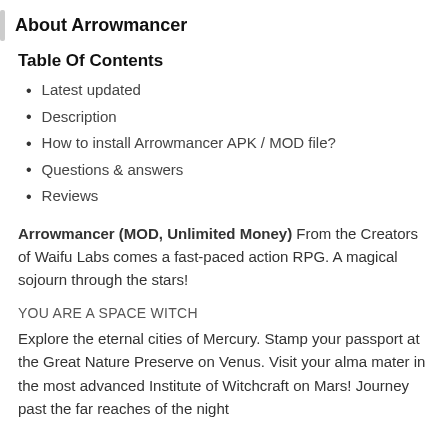About Arrowmancer
Table Of Contents
Latest updated
Description
How to install Arrowmancer APK / MOD file?
Questions & answers
Reviews
Arrowmancer (MOD, Unlimited Money) From the Creators of Waifu Labs comes a fast-paced action RPG. A magical sojourn through the stars!
YOU ARE A SPACE WITCH
Explore the eternal cities of Mercury. Stamp your passport at the Great Nature Preserve on Venus. Visit your alma mater in the most advanced Institute of Witchcraft on Mars! Journey past the far reaches of the night